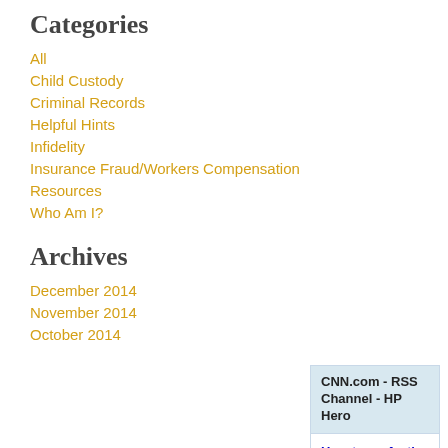Categories
All
Child Custody
Criminal Records
Helpful Hints
Infidelity
Insurance Fraud/Workers Compensation
Resources
Who Am I?
Archives
December 2014
November 2014
October 2014
CNN.com - RSS Channel - HP Hero
How to perfectly peel hard boiled eggs
...